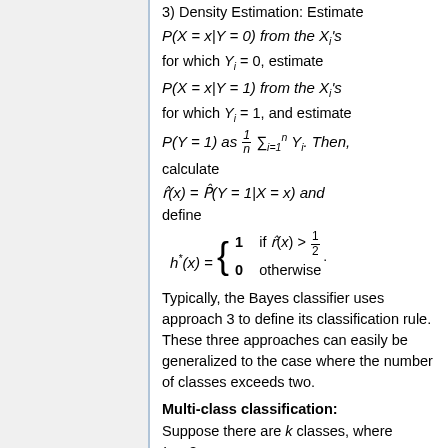3) Density Estimation: Estimate P(X = x|Y = 0) from the X_i's for which Y_i = 0, estimate P(X = x|Y = 1) from the X_i's for which Y_i = 1, and estimate P(Y = 1) as 1/n sum_{i=1}^{n} Y_i. Then, calculate r-hat(x) = P-hat(Y = 1|X = x) and define h*(x) = {1 if r-hat(x) > 1/2; 0 otherwise}.
Typically, the Bayes classifier uses approach 3 to define its classification rule. These three approaches can easily be generalized to the case where the number of classes exceeds two.
Multi-class classification:
Suppose there are k classes, where k ≥ 2.